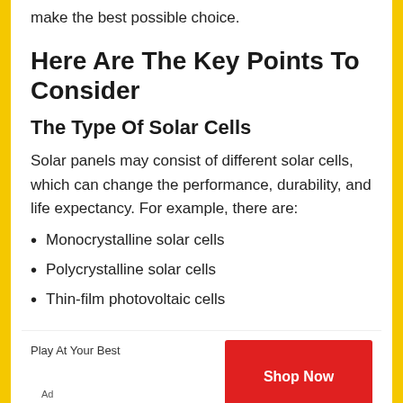make the best possible choice.
Here Are The Key Points To Consider
The Type Of Solar Cells
Solar panels may consist of different solar cells, which can change the performance, durability, and life expectancy. For example, there are:
Monocrystalline solar cells
Polycrystalline solar cells
Thin-film photovoltaic cells
[Figure (other): Advertisement banner: Play At Your Best / Shop Now button in red]
Ad